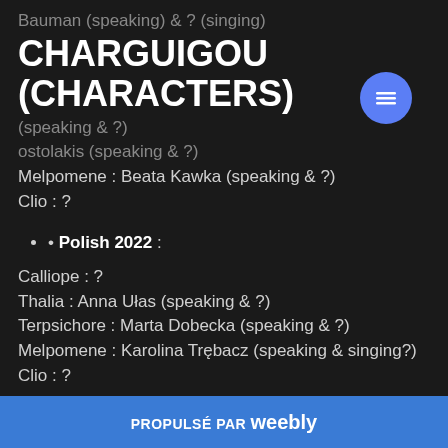Bauman (speaking) & ? (singing)
CHARGUIGOU (CHARACTERS)
(speaking & ?)
ostolakis (speaking & ?)
Melpomene : Beata Kawka (speaking & ?)
Clio : ?
Polish 2022 :
Calliope : ?
Thalia : Anna Ułas (speaking & ?)
Terpsichore : Marta Dobecka (speaking & ?)
Melpomene : Karolina Trębacz (speaking & singing?)
Clio : ?
PROPULSÉ PAR weebly